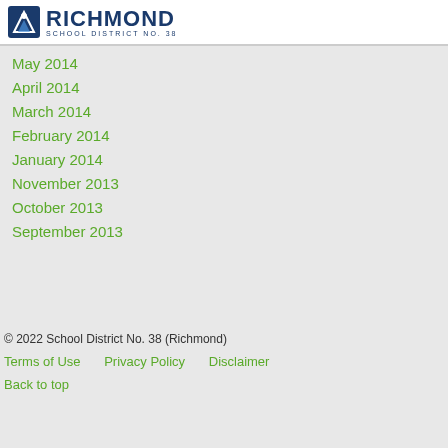Richmond School District No. 38
May 2014
April 2014
March 2014
February 2014
January 2014
November 2013
October 2013
September 2013
© 2022 School District No. 38 (Richmond)
Terms of Use   Privacy Policy   Disclaimer
Back to top